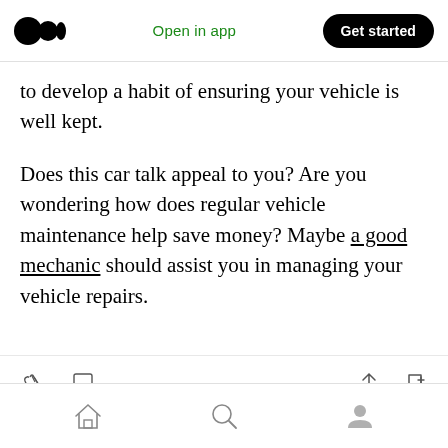Medium logo | Open in app | Get started
to develop a habit of ensuring your vehicle is well kept.
Does this car talk appeal to you? Are you wondering how does regular vehicle maintenance help save money? Maybe a good mechanic should assist you in managing your vehicle repairs.
[Figure (screenshot): Article action bar with clap, comment, share, and bookmark icons]
[Figure (screenshot): Bottom navigation bar with home, search, and profile icons]